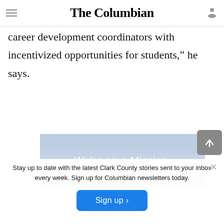The Columbian
career development coordinators with incentivized opportunities for students,” he says.
[Figure (other): Advertisement banner with sky background and text ‘We’re on a Mission.’]
Stay up to date with the latest Clark County stories sent to your inbox every week. Sign up for Columbian newsletters today.